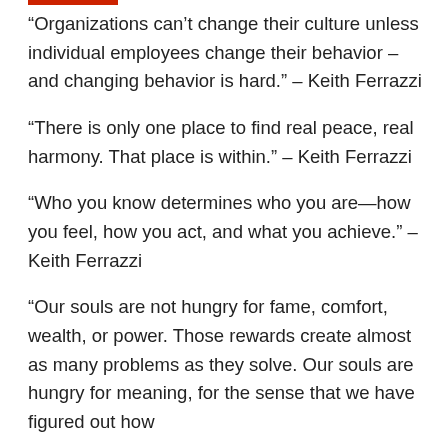“Organizations can’t change their culture unless individual employees change their behavior – and changing behavior is hard.” – Keith Ferrazzi
“There is only one place to find real peace, real harmony. That place is within.” – Keith Ferrazzi
“Who you know determines who you are—how you feel, how you act, and what you achieve.” – Keith Ferrazzi
“Our souls are not hungry for fame, comfort, wealth, or power. Those rewards create almost as many problems as they solve. Our souls are hungry for meaning, for the sense that we have figured out how